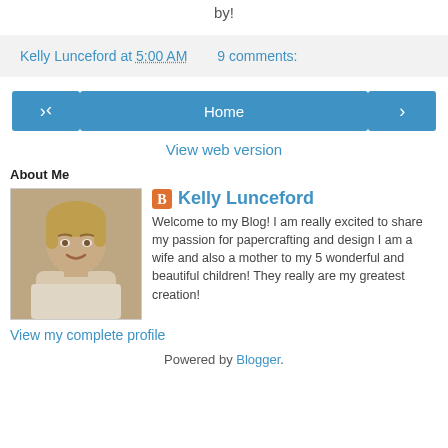by!
Kelly Lunceford at 5:00 AM    9 comments:
[Figure (other): Navigation buttons: left arrow, Home, right arrow]
View web version
About Me
[Figure (photo): Profile photo of Kelly Lunceford - woman with blonde hair, sepia/monochrome tone]
Kelly Lunceford
Welcome to my Blog! I am really excited to share my passion for papercrafting and design I am a wife and also a mother to my 5 wonderful and beautiful children! They really are my greatest creation!
View my complete profile
Powered by Blogger.